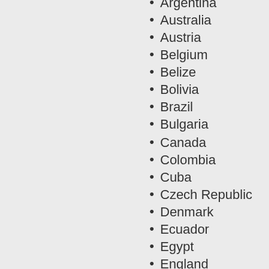Argentina
Australia
Austria
Belgium
Belize
Bolivia
Brazil
Bulgaria
Canada
Colombia
Cuba
Czech Republic
Denmark
Ecuador
Egypt
England